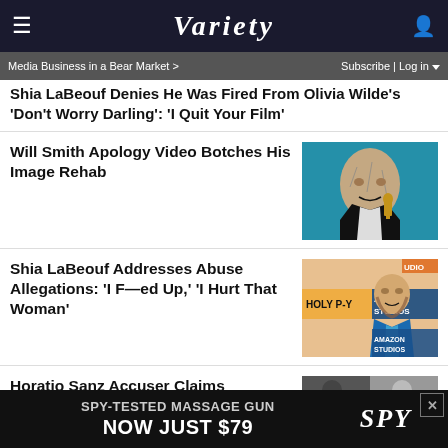VARIETY
Media Business in a Bear Market >   Subscribe | Log in
Shia LaBeouf Denies He Was Fired From Olivia Wilde's 'Don't Worry Darling': 'I Quit Your Film'
Will Smith Apology Video Botches His Image Rehab
[Figure (photo): Will Smith holding an Oscar award with cracked/textured face effect on teal background]
Shia LaBeouf Addresses Abuse Allegations: 'I F—ed Up,' 'I Hurt That Woman'
[Figure (photo): Shia LaBeouf in blue blazer at Amazon Studios event]
Horatio Sanz Accuser Claims
[Figure (photo): Partial photo of Horatio Sanz accuser story]
SPY-TESTED MASSAGE GUN NOW JUST $79  SPY